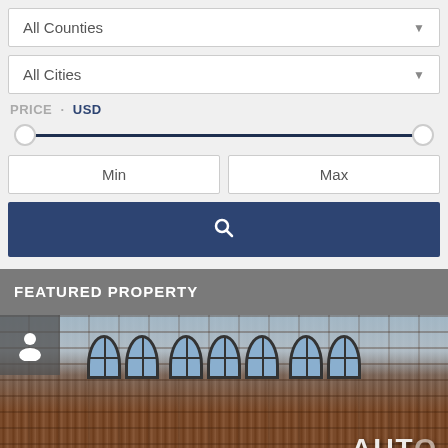[Figure (screenshot): Search filter UI with All Counties dropdown]
[Figure (screenshot): Search filter UI with All Cities dropdown]
PRICE · USD
[Figure (infographic): Price range slider from min to max]
Min
Max
[Figure (infographic): Blue search button with magnifying glass icon]
FEATURED PROPERTY
[Figure (photo): Photo of a historic brick building exterior with arched windows and AUTO sign visible]